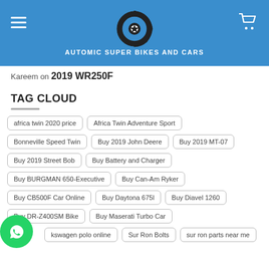AUTOMIC SUPER BIKES AND CARS
Kareem on 2019 WR250F
TAG CLOUD
africa twin 2020 price
Africa Twin Adventure Sport
Bonneville Speed Twin
Buy 2019 John Deere
Buy 2019 MT-07
Buy 2019 Street Bob
Buy Battery and Charger
Buy BURGMAN 650-Executive
Buy Can-Am Ryker
Buy CB500F Car Online
Buy Daytona 675l
Buy Diavel 1260
Buy DR-Z400SM Bike
Buy Maserati Turbo Car
kswagen polo online
Sur Ron Bolts
sur ron parts near me